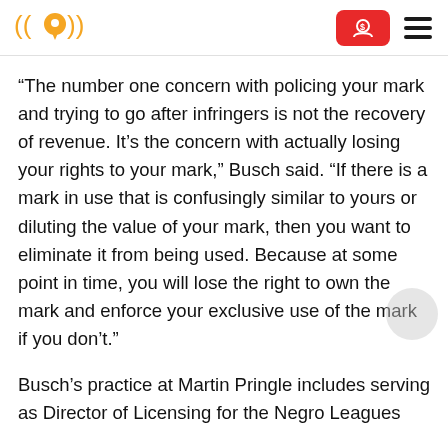Logo and navigation header
“The number one concern with policing your mark and trying to go after infringers is not the recovery of revenue. It’s the concern with actually losing your rights to your mark,” Busch said. “If there is a mark in use that is confusingly similar to yours or diluting the value of your mark, then you want to eliminate it from being used. Because at some point in time, you will lose the right to own the mark and enforce your exclusive use of the mark if you don’t.”
Busch’s practice at Martin Pringle includes serving as Director of Licensing for the Negro Leagues Museum, then (MLB) also Director, Franchisee and